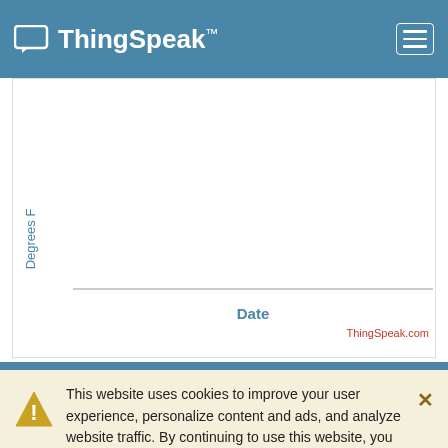ThingSpeak™
[Figure (continuous-plot): A ThingSpeak line chart with y-axis labeled 'Degrees F' and x-axis labeled 'Date'. The chart area appears empty (no data plotted). A horizontal line marks the x-axis. Attribution 'ThingSpeak.com' appears in red at lower right.]
This website uses cookies to improve your user experience, personalize content and ads, and analyze website traffic. By continuing to use this website, you consent to our use of cookies. Please see our Privacy Policy to learn more about cookies and how to change your settings.